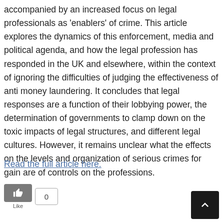accompanied by an increased focus on legal professionals as 'enablers' of crime. This article explores the dynamics of this enforcement, media and political agenda, and how the legal profession has responded in the UK and elsewhere, within the context of ignoring the difficulties of judging the effectiveness of anti money laundering. It concludes that legal responses are a function of their lobbying power, the determination of governments to clamp down on the toxic impacts of legal structures, and different legal cultures. However, it remains unclear what the effects on the levels and organization of serious crimes for gain are of controls on the professions.
Read the full article here.
[Figure (other): Like button with thumbs-up icon (grey button) and a count box showing 0]